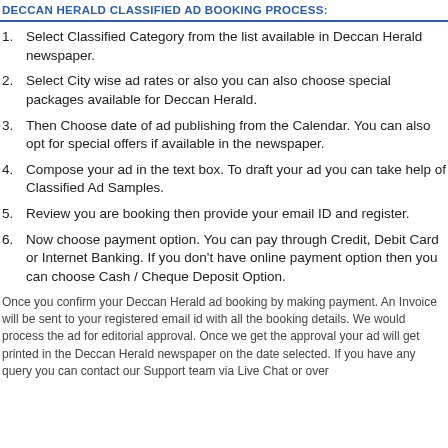DECCAN HERALD CLASSIFIED AD BOOKING PROCESS:
Select Classified Category from the list available in Deccan Herald newspaper.
Select City wise ad rates or also you can also choose special packages available for Deccan Herald.
Then Choose date of ad publishing from the Calendar. You can also opt for special offers if available in the newspaper.
Compose your ad in the text box. To draft your ad you can take help of Classified Ad Samples.
Review you are booking then provide your email ID and register.
Now choose payment option. You can pay through Credit, Debit Card or Internet Banking. If you don't have online payment option then you can choose Cash / Cheque Deposit Option.
Once you confirm your Deccan Herald ad booking by making payment. An Invoice will be sent to your registered email id with all the booking details. We would process the ad for editorial approval. Once we get the approval your ad will get printed in the Deccan Herald newspaper on the date selected. If you have any query you can contact our Support team via Live Chat or over